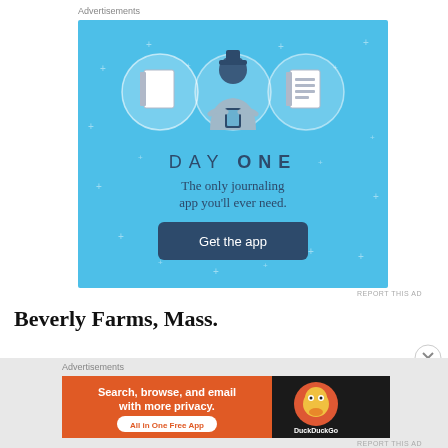Advertisements
[Figure (illustration): Day One journaling app advertisement on light blue background. Shows three circular icons (notebook, person using phone, checklist), the text 'DAY ONE', 'The only journaling app you'll ever need.' and a 'Get the app' button.]
REPORT THIS AD
Beverly Farms, Mass.
Advertisements
[Figure (illustration): DuckDuckGo advertisement. Orange left panel with text 'Search, browse, and email with more privacy. All in One Free App'. Dark right panel with DuckDuckGo duck logo and 'DuckDuckGo' text.]
REPORT THIS AD